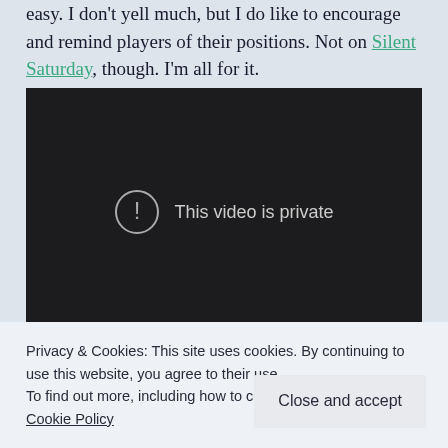easy. I don't yell much, but I do like to encourage and remind players of their positions. Not on Silent Saturday, though. I'm all for it.
[Figure (screenshot): Embedded video player showing a dark background with a circular exclamation icon and the message 'This video is private']
Privacy & Cookies: This site uses cookies. By continuing to use this website, you agree to their use.
To find out more, including how to control cookies, see here: Cookie Policy